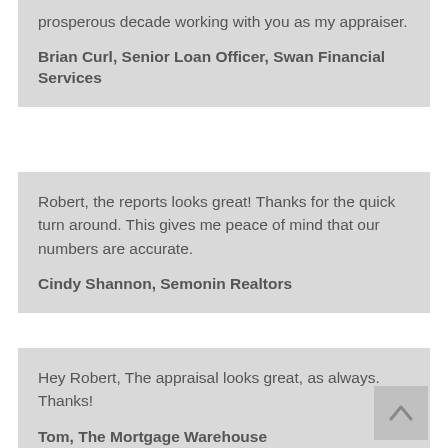prosperous decade working with you as my appraiser.
Brian Curl, Senior Loan Officer, Swan Financial Services
Robert, the reports looks great! Thanks for the quick turn around. This gives me peace of mind that our numbers are accurate.
Cindy Shannon, Semonin Realtors
Hey Robert, The appraisal looks great, as always. Thanks!
Tom, The Mortgage Warehouse